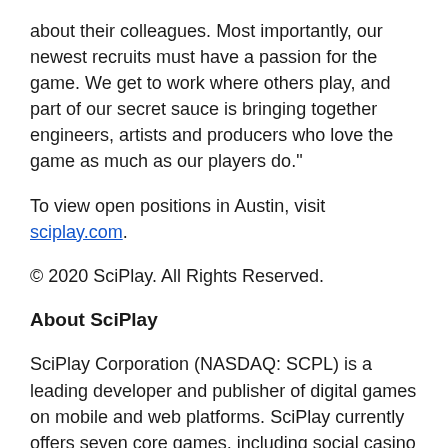about their colleagues. Most importantly, our newest recruits must have a passion for the game. We get to work where others play, and part of our secret sauce is bringing together engineers, artists and producers who love the game as much as our players do."
To view open positions in Austin, visit sciplay.com.
© 2020 SciPlay. All Rights Reserved.
About SciPlay
SciPlay Corporation (NASDAQ: SCPL) is a leading developer and publisher of digital games on mobile and web platforms. SciPlay currently offers seven core games, including social casino games Jackpot Party Casino, Gold Fish Casino, Hot Shot Casino and Quick Hit Slots, and casual games MONOPOLY Slots, Bingo Showdown and 88 Fortunes Slots. SciPlay's social casino games feature...